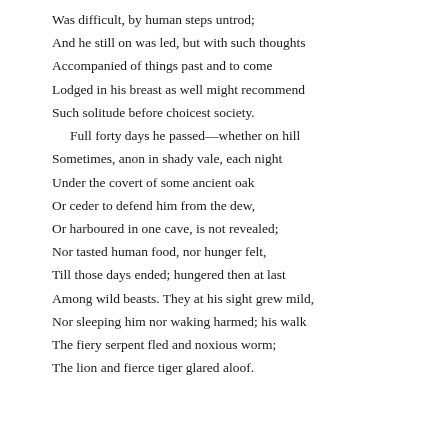Was difficult, by human steps untrod;
And he still on was led, but with such thoughts
Accompanied of things past and to come
Lodged in his breast as well might recommend
Such solitude before choicest society.
  Full forty days he passed—whether on hill
Sometimes, anon in shady vale, each night
Under the covert of some ancient oak
Or ceder to defend him from the dew,
Or harboured in one cave, is not revealed;
Nor tasted human food, nor hunger felt,
Till those days ended; hungered then at last
Among wild beasts. They at his sight grew mild,
Nor sleeping him nor waking harmed; his walk
The fiery serpent fled and noxious worm;
The lion and fierce tiger glared aloof.